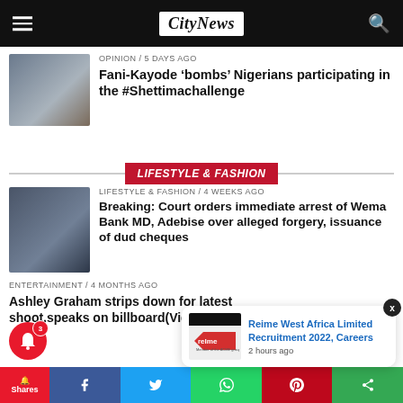CityNews
OPINION / 5 days ago
Fani-Kayode ‘bombs’ Nigerians participating in the #Shettimachallenge
LIFESTYLE & FASHION
LIFESTYLE & FASHION / 4 weeks ago
Breaking: Court orders immediate arrest of Wema Bank MD, Adebise over alleged forgery, issuance of dud cheques
ENTERTAINMENT / 4 months ago
Ashley Graham strips down for latest shoot,speaks on billboard(Video)
[Figure (other): Advertisement popup: Reime West Africa Limited Recruitment 2022, Careers - 2 hours ago]
Shares | Facebook | Twitter | WhatsApp | Pinterest | Share